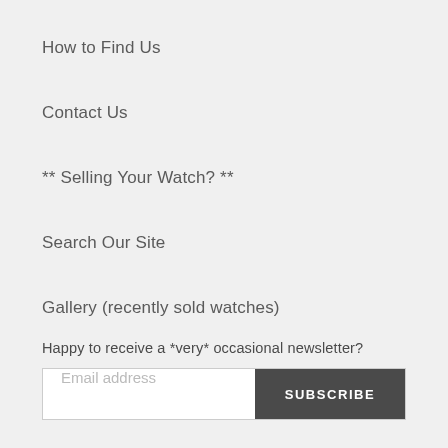How to Find Us
Contact Us
** Selling Your Watch? **
Search Our Site
Gallery (recently sold watches)
Happy to receive a *very* occasional newsletter?
Email address | SUBSCRIBE